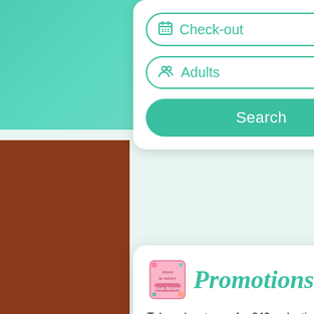[Figure (screenshot): Screenshot of a booking/search UI showing Check-out and Adults input fields with a Search button, and a Promotions modal popup]
Check-out
Adults
Search
Promotions
Take advantage of a €40 reduction per day and per person when booking a stay of 2 or 3 nights, and €51 for a stay of 4 nights or more!
Book an accommodation